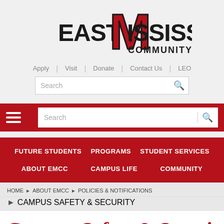[Figure (logo): East Mississippi Community College logo with red M and black/red text]
Apply | Visit | Donate | Contact Us | LEO
[Figure (screenshot): Search bar in header area]
[Figure (screenshot): Mobile red navigation bar with hamburger menu and search]
[Figure (screenshot): Red navigation menu with Future Students, Programs, Student Services, About EMCC, Campus Life, Community]
HOME › ABOUT EMCC › POLICIES & NOTIFICATIONS › CAMPUS SAFETY & SECURITY
Campus Safety & Security